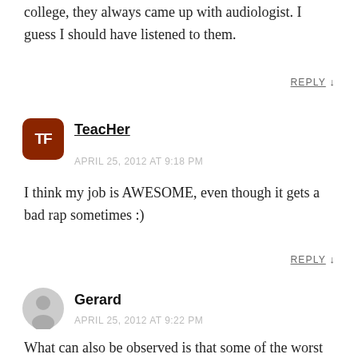college, they always came up with audiologist. I guess I should have listened to them.
REPLY ↓
[Figure (logo): TeacHer avatar - dark red rounded square with white TF letters]
TeacHer
APRIL 25, 2012 AT 9:18 PM
I think my job is AWESOME, even though it gets a bad rap sometimes :)
REPLY ↓
[Figure (illustration): Generic gray user avatar circle with person silhouette]
Gerard
APRIL 25, 2012 AT 9:22 PM
What can also be observed is that some of the worst jobs are jobs that many students take in